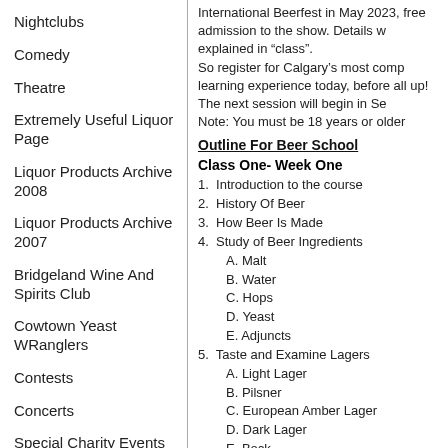Nightclubs
Comedy
Theatre
Extremely Useful Liquor Page
Liquor Products Archive 2008
Liquor Products Archive 2007
Bridgeland Wine And Spirits Club
Cowtown Yeast WRanglers
Contests
Concerts
Special Charity Events
International Beerfest in May 2023, free admission to the show. Details w explained in “class”.
So register for Calgary’s most comp learning experience today, before all up! The next session will begin in Se
Note: You must be 18 years or older
Outline For Beer School
Class One- Week One
1. Introduction to the course
2. History Of Beer
3. How Beer Is Made
4. Study of Beer Ingredients
A. Malt
B. Water
C. Hops
D. Yeast
E. Adjuncts
5. Taste and Examine Lagers
A. Light Lager
B. Pilsner
C. European Amber Lager
D. Dark Lager
E. Bock
F. Light Hybrid Beer
G. Amber Hybrid Beer